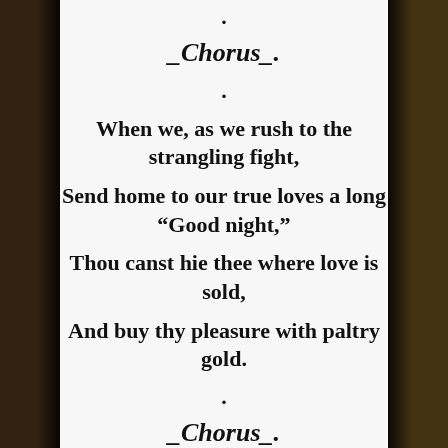.
_Chorus_.
.
When we, as we rush to the strangling fight,
Send home to our true loves a long “Good night,”
Thou canst hie thee where love is sold,
And buy thy pleasure with paltry gold.
.
_Chorus_.